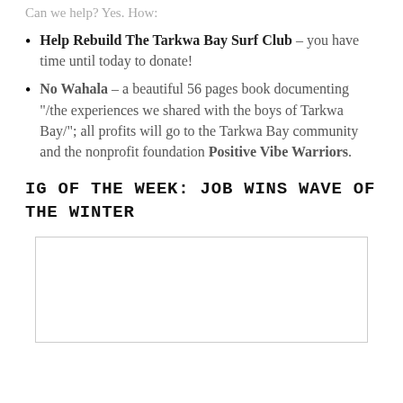Can we help? Yes. How:
Help Rebuild The Tarkwa Bay Surf Club – you have time until today to donate!
No Wahala – a beautiful 56 pages book documenting "/the experiences we shared with the boys of Tarkwa Bay/"; all profits will go to the Tarkwa Bay community and the nonprofit foundation Positive Vibe Warriors.
IG OF THE WEEK: JOB WINS WAVE OF THE WINTER
[Figure (photo): Placeholder image box for IG of the week photo]